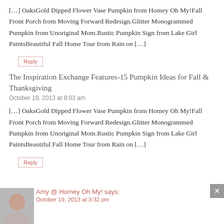[…] OaksGold Dipped Flower Vase Pumpkin from Homey Oh My!Fall Front Porch from Moving Forward Redesign.Glitter Monogrammed Pumpkin from Unoriginal Mom.Rustic Pumpkin Sign from Lake Girl PaintsBeautiful Fall Home Tour from Rain on […]
Reply
The Inspiration Exchange Features-15 Pumpkin Ideas for Fall & Thanksgiving
October 19, 2013 at 8:03 am
[…] OaksGold Dipped Flower Vase Pumpkin from Homey Oh My!Fall Front Porch from Moving Forward Redesign.Glitter Monogrammed Pumpkin from Unoriginal Mom.Rustic Pumpkin Sign from Lake Girl PaintsBeautiful Fall Home Tour from Rain on […]
Reply
Amy @ Homey Oh My! says:
October 19, 2013 at 3:32 pm